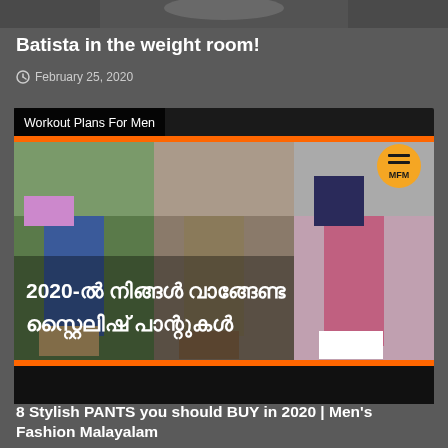[Figure (photo): Top portion of a photo showing a person, partially cropped]
Batista in the weight room!
February 25, 2020
[Figure (photo): Thumbnail image showing three men walking, wearing different stylish pants. Text in Malayalam script overlaid: 2020-ൽ നിങ്ങൾ വാങ്ങേണ്ട സ്റ്റൈലിഷ് പാന്റുകൾ. MFM logo in top right corner. Orange accent bar at top and bottom.]
Workout Plans For Men
[Figure (photo): Dark/black strip at bottom of second card]
8 Stylish PANTS you should BUY in 2020 | Men's Fashion Malayalam